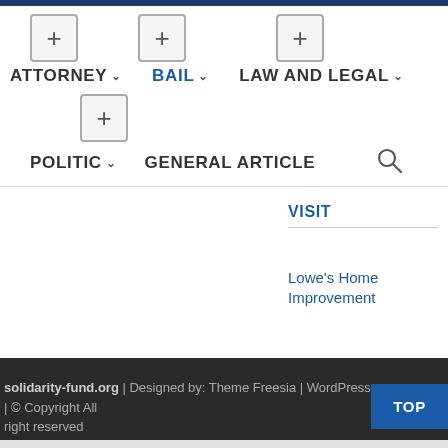Navigation menu with plus buttons, ATTORNEY, BAIL, LAW AND LEGAL, POLITIC, GENERAL ARTICLE, search icon
VISIT
Lowe's Home Improvement
solidarity-fund.org | Designed by: Theme Freesia | WordPress | © Copyright All right reserved